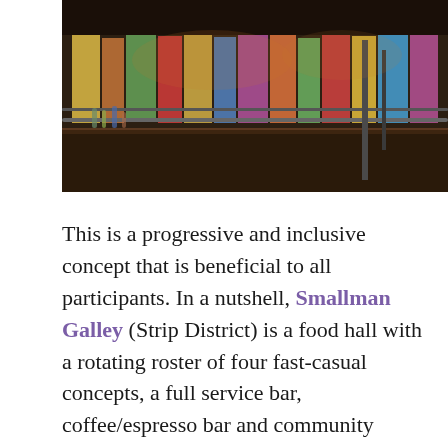[Figure (photo): Interior photo of Smallman Galley bar area showing a dark wood bar counter with decorative colorful painted panels along the back wall and industrial-style lighting and fixtures in a dimly lit space.]
This is a progressive and inclusive concept that is beneficial to all participants. In a nutshell, Smallman Galley (Strip District) is a food hall with a rotating roster of four fast-casual concepts, a full service bar, coffee/espresso bar and community seating. The bars are permanent, but the concepts change and are reserved for graduating chefs. The chefs have to pitch their concept and if chosen, get a chance to showcase their skills while learning (on a smaller scale) the daily intricacies of the service industry.